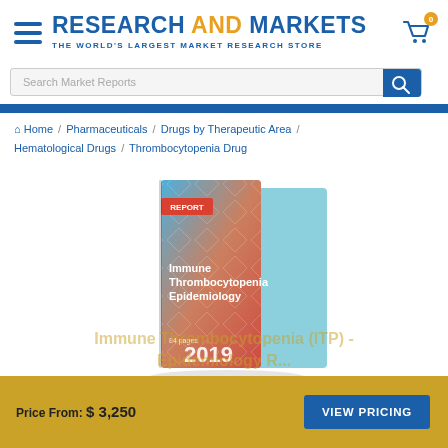RESEARCH AND MARKETS - THE WORLD'S LARGEST MARKET RESEARCH STORE
Search Market Reports
Home / Pharmaceuticals / Drugs by Therapeutic Area / Hematological Drugs / Thrombocytopenia Drug
[Figure (photo): Book cover of 'Immune Thrombocytopenia Epidemiology' report, 84 pages, 2019, published by Research and Markets]
Immune Thrombocytopenia (ITP) - Epidemiology R...
Price From: $ 3,250
VIEW PRICING